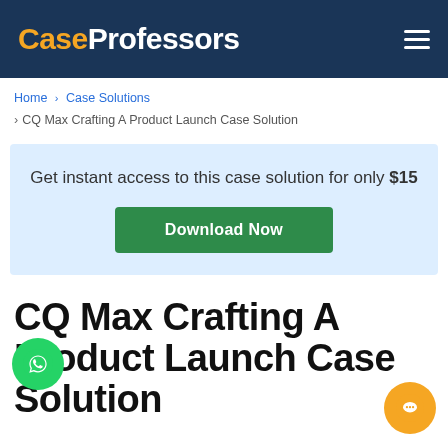CaseProfessors
Home > Case Solutions > CQ Max Crafting A Product Launch Case Solution
Get instant access to this case solution for only $15
Download Now
CQ Max Crafting A Product Launch Case Solution